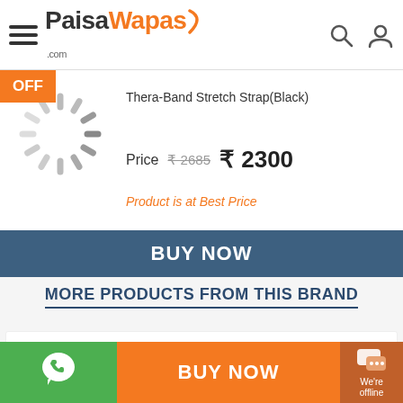PaisaWapas.com
OFF
Thera-Band Stretch Strap(Black)
Price  ₹2685  ₹2300
Product is at Best Price
BUY NOW
MORE PRODUCTS FROM THIS BRAND
BUY NOW
We're offline